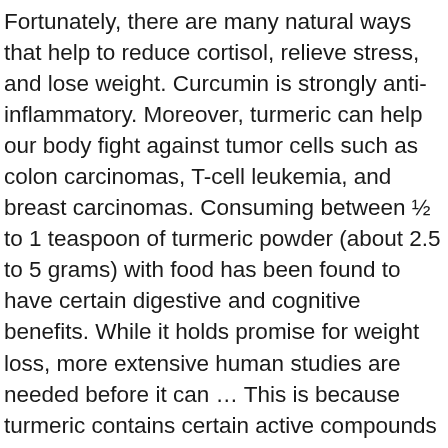Fortunately, there are many natural ways that help to reduce cortisol, relieve stress, and lose weight. Curcumin is strongly anti-inflammatory. Moreover, turmeric can help our body fight against tumor cells such as colon carcinomas, T-cell leukemia, and breast carcinomas. Consuming between ½ to 1 teaspoon of turmeric powder (about 2.5 to 5 grams) with food has been found to have certain digestive and cognitive benefits. While it holds promise for weight loss, more extensive human studies are needed before it can … This is because turmeric contains certain active compounds that can fight against inflammatory condition such as, Tanning and sunburn contribute to the excessive melanin production. People often suffer from atopic dermatitis and atopic eczema, the common forms of eczema. Foods that are. Without this substance, most of the curcumin just passes through your digestive tract. However, natural ingredients do not cause any unwanted side effects for your skin. Seasoning your foods with turmeric certainly won't hurt you. It is recommended repeating this treatment several times